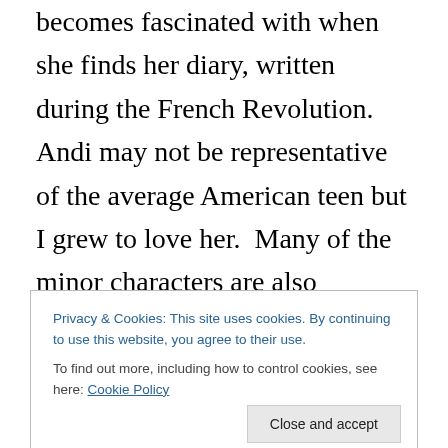becomes fascinated with when she finds her diary, written during the French Revolution. Andi may not be representative of the average American teen but I grew to love her.  Many of the minor characters are also memorable — everyone from Andi's best friend, Vijay, to an 18th century French composer (of Donnelley's imagination, I was sad to learn; he seemed so real) named Malherbeau comes off the page in vivid, living color. Andi's family friend, G, a French historian, her Holocaust survivor music teacher in Brooklyn, and the strict librarian at a historical archives in Paris are all wonderfully drawn. Even
Privacy & Cookies: This site uses cookies. By continuing to use this website, you agree to their use.
To find out more, including how to control cookies, see here: Cookie Policy
progresses, their two worlds go from having some